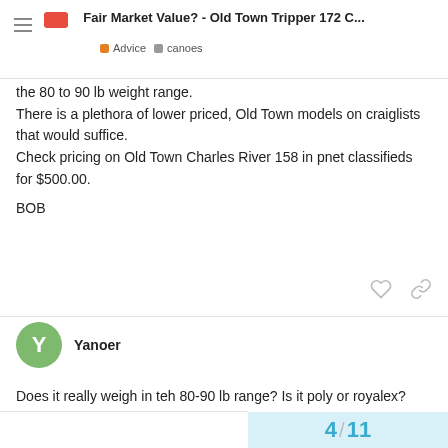Fair Market Value? - Old Town Tripper 172 C...
the 80 to 90 lb weight range.
There is a plethora of lower priced, Old Town models on craiglists that would suffice.
Check pricing on Old Town Charles River 158 in pnet classifieds for $500.00.

BOB
Yanoer  May '18
Does it really weigh in teh 80-90 lb range? Is it poly or royalex? Poly probably would weigh in the 80 - 90 lb range. Royalex would likely be closer to 70 lbs.
4 / 11